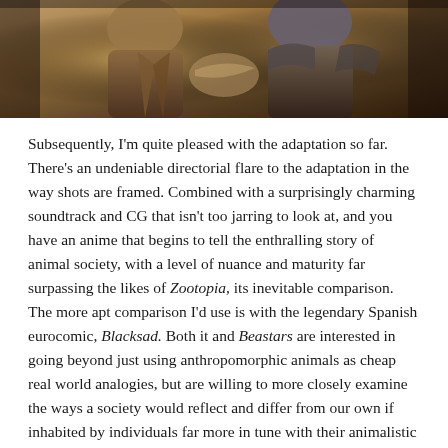[Figure (photo): Anime screenshot showing anthropomorphic animal characters in close-up, with warm brown and amber tones suggesting an indoor or dramatic scene from the anime Beastars.]
Subsequently, I'm quite pleased with the adaptation so far. There's an undeniable directorial flare to the adaptation in the way shots are framed. Combined with a surprisingly charming soundtrack and CG that isn't too jarring to look at, and you have an anime that begins to tell the enthralling story of animal society, with a level of nuance and maturity far surpassing the likes of Zootopia, its inevitable comparison. The more apt comparison I'd use is with the legendary Spanish eurocomic, Blacksad. Both it and Beastars are interested in going beyond just using anthropomorphic animals as cheap real world analogies, but are willing to more closely examine the ways a society would reflect and differ from our own if inhabited by individuals far more in tune with their animalistic nature. What makes Beastars so engaging is that it's a story about both people and animals, and the messy intermingling of the two concepts.
Hard to say if Beastars will be able to keep it up. For now I am tentatively excited to see more. That said, while the visual directing was quite good for the most part, there were some questionable visual choices that were unintentionally hilarious in a way that deflated the scenes. Additionally, the anime is already beginning to remove content from the original